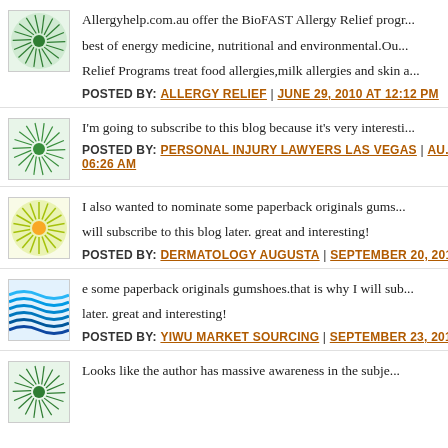[Figure (illustration): Green sunburst/spiral avatar icon]
Allergyhelp.com.au offer the BioFAST Allergy Relief progr... best of energy medicine, nutritional and environmental.Ou... Relief Programs treat food allergies,milk allergies and skin a...
POSTED BY: ALLERGY RELIEF | JUNE 29, 2010 AT 12:12 PM
[Figure (illustration): Green sunburst/spiral avatar icon]
I'm going to subscribe to this blog because it's very interesti...
POSTED BY: PERSONAL INJURY LAWYERS LAS VEGAS | AU... 06:26 AM
[Figure (illustration): Yellow-green sunburst with center circle avatar icon]
I also wanted to nominate some paperback originals gums... will subscribe to this blog later. great and interesting!
POSTED BY: DERMATOLOGY AUGUSTA | SEPTEMBER 20, 2010 A...
[Figure (illustration): Blue waves avatar icon]
e some paperback originals gumshoes.that is why I will sub... later. great and interesting!
POSTED BY: YIWU MARKET SOURCING | SEPTEMBER 23, 2010 A...
[Figure (illustration): Green sunburst/spiral avatar icon]
Looks like the author has massive awareness in the subje...